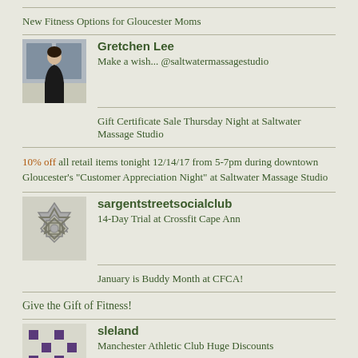New Fitness Options for Gloucester Moms
Gretchen Lee
Make a wish... @saltwatermassagestudio
Gift Certificate Sale Thursday Night at Saltwater Massage Studio
10% off all retail items tonight 12/14/17 from 5-7pm during downtown Gloucester's "Customer Appreciation Night" at Saltwater Massage Studio
sargentstreetsocialclub
14-Day Trial at Crossfit Cape Ann
January is Buddy Month at CFCA!
Give the Gift of Fitness!
sleland
Manchester Athletic Club Huge Discounts
College Funding Seminar At Manchester Athletic Club Monday September 26th